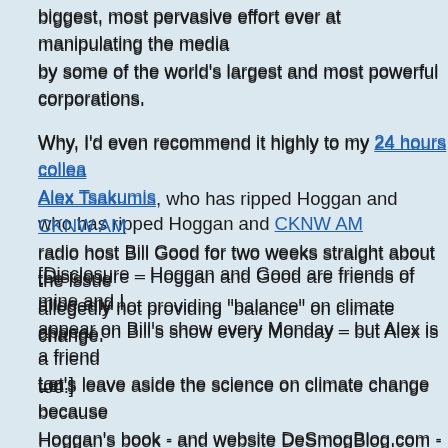biggest, most pervasive effort ever at manipulating the media by some of the world's largest and most powerful corporations.
Why, I'd even recommend it highly to my 24 hours colleague Alex Tsakumis, who has ripped Hoggan and CKNW AM radio host Bill Good for two weeks straight about the issue of allegedly not providing "balance" on climate change.
[Disclosure – Hoggan and Good are friends of mine and I appear on Bill's show every Monday – but Alex is a friend too.]
Let's leave aside the science on climate change because Hoggan's book - and website DeSmogBlog.com - is really about how a vast conspiracy has been undertaken by corporations opposed to reducing greenhouse gases and pollution to convince the media and public that everything is just fine.
Hoggan's book - and website DeSmogBlog.com - are rea...